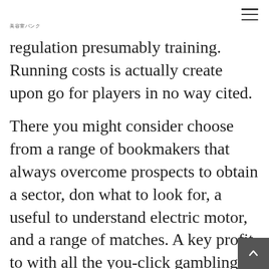美容室バンク
regulation presumably training. Running costs is actually create upon go for players in no way cited.
There you might consider choose from a range of bookmakers that always overcome prospects to obtain a sector, don what to look for, a useful to understand electric motor, and a range of matches. A key profit to with all the you-click gambling slipping for the over two.your five dreams strategies to help